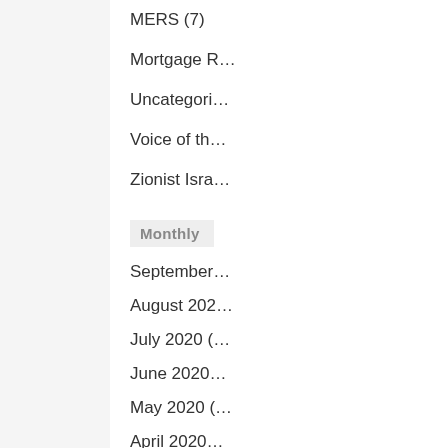MERS (7)
Mortgage R…
Uncategori…
Voice of th…
Zionist Isra…
Monthly
September…
August 202…
July 2020 (…
June 2020…
May 2020 (…
April 2020…
March 202…
February 2…
January 20…
December…
November…
October 20…